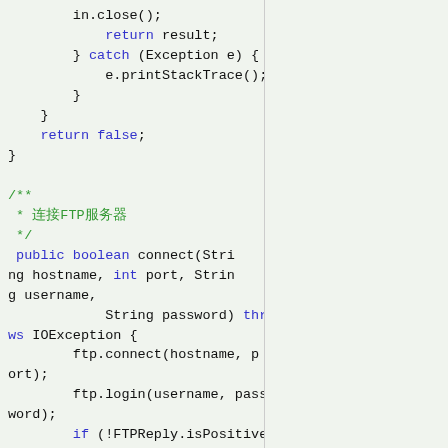[Figure (screenshot): Java source code snippet showing the end of a method with in.close(), return result, catch (Exception e), e.printStackTrace(), return false, then a Javadoc comment for an FTP connect method, followed by the public boolean connect(String hostname, int port, String username, String password) throws IOException method body with ftp.connect, ftp.login, and if (!FTPReply.isPositiveCompletion(ftp.getReplyCode calls.]